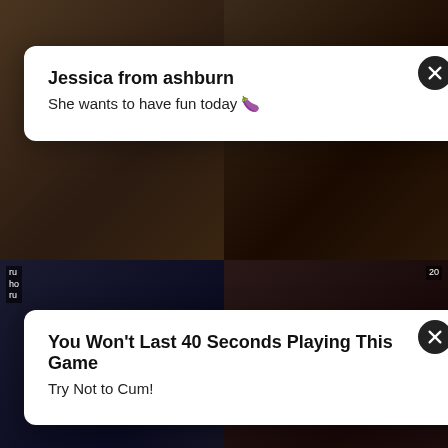[Figure (screenshot): Adult video thumbnail grid with two ad popups overlaid. Top-left and top-right cells show video thumbnails. Middle row shows two more thumbnails with orange label bars showing titles and durations. Bottom row shows two more thumbnails. Two white rounded-rectangle ad popups overlay the grid.]
Jessica from ashburn
She wants to have fun today 🍆
You Won't Last 40 Seconds Playing This Game
Try Not to Cum!
marvelous amateur cutie gets anal creampie  12:50
beruhre meine stiefmutter muschi mi creampie beendet  17:41